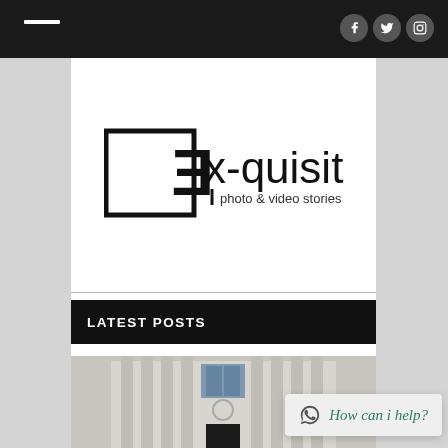Navigation bar with menu icon and social icons (Facebook, Twitter, Instagram)
[Figure (logo): Ex-quisite logo: stylized backwards E in a square box, followed by 'x-quisite' text with '| photo & video stories' subtitle]
LATEST POSTS
[Figure (photo): Photo of a neoclassical building facade with columns and ornate window]
How can i help?